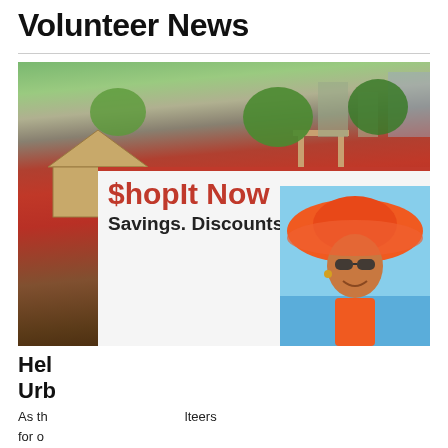Volunteer News
[Figure (photo): Large group of volunteers in red shirts posing outdoors in an urban garden setting with trees and buildings in background]
[Figure (photo): Advertisement overlay showing '$hopIt Now Savings. Discounts.' with a woman in an orange hat and sunglasses]
Hel
Urb Savings. Discounts.
As th                                                  lteers for o
Read